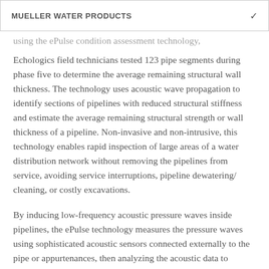MUELLER WATER PRODUCTS
using the ePulse condition assessment technology, Echologics field technicians tested 123 pipe segments during phase five to determine the average remaining structural wall thickness. The technology uses acoustic wave propagation to identify sections of pipelines with reduced structural stiffness and estimate the average remaining structural strength or wall thickness of a pipeline. Non-invasive and non-intrusive, this technology enables rapid inspection of large areas of a water distribution network without removing the pipelines from service, avoiding service interruptions, pipeline dewatering/ cleaning, or costly excavations.
By inducing low-frequency acoustic pressure waves inside pipelines, the ePulse technology measures the pressure waves using sophisticated acoustic sensors connected externally to the pipe or appurtenances, then analyzing the acoustic data to determine pipe condition.